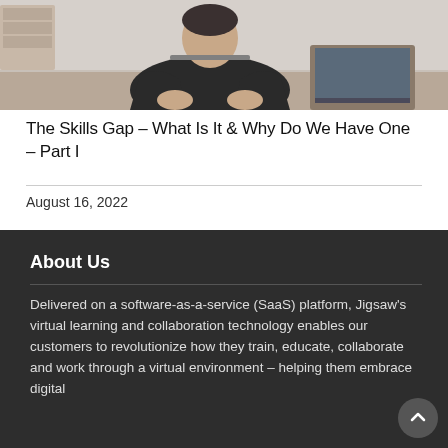[Figure (photo): Person sitting at a desk with a laptop, viewed from behind/side in an office/home setting]
The Skills Gap – What Is It & Why Do We Have One – Part I
August 16, 2022
About Us
Delivered on a software-as-a-service (SaaS) platform, Jigsaw's virtual learning and collaboration technology enables our customers to revolutionize how they train, educate, collaborate and work through a virtual environment – helping them embrace digital